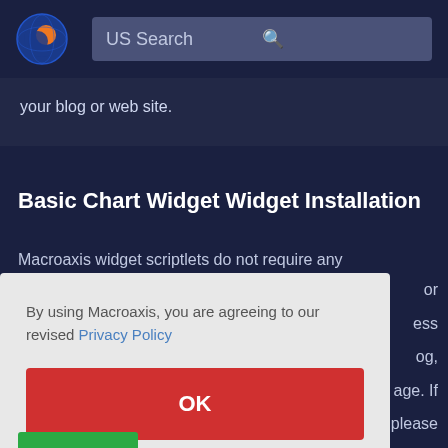US Search
your blog or web site.
Basic Chart Widget Widget Installation
Macroaxis widget scriptlets do not require any
By using Macroaxis, you are agreeing to our revised Privacy Policy
OK
or
ess
og,
age. If
please
ML